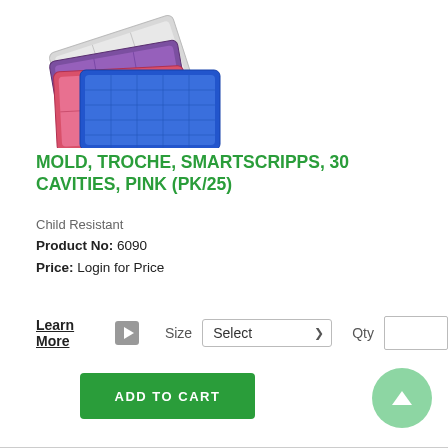[Figure (photo): Stacked troche molds in multiple colors (white, purple, pink, blue), showing 30-cavity grid design]
MOLD, TROCHE, SMARTSCRIPPS, 30 CAVITIES, PINK (PK/25)
Child Resistant
Product No: 6090
Price: Login for Price
Learn More
Size Select
Qty
ADD TO CART